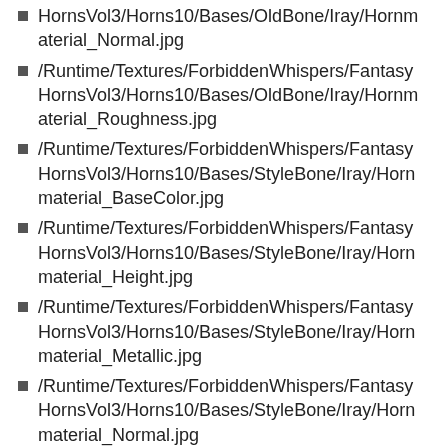/Runtime/Textures/ForbiddenWhispers/FantasyHornsVol3/Horns10/Bases/OldBone/Iray/Hornmaterial_Normal.jpg
/Runtime/Textures/ForbiddenWhispers/FantasyHornsVol3/Horns10/Bases/OldBone/Iray/Hornmaterial_Roughness.jpg
/Runtime/Textures/ForbiddenWhispers/FantasyHornsVol3/Horns10/Bases/StyleBone/Iray/Hornmaterial_BaseColor.jpg
/Runtime/Textures/ForbiddenWhispers/FantasyHornsVol3/Horns10/Bases/StyleBone/Iray/Hornmaterial_Height.jpg
/Runtime/Textures/ForbiddenWhispers/FantasyHornsVol3/Horns10/Bases/StyleBone/Iray/Hornmaterial_Metallic.jpg
/Runtime/Textures/ForbiddenWhispers/FantasyHornsVol3/Horns10/Bases/StyleBone/Iray/Hornmaterial_Normal.jpg
/Runtime/Textures/ForbiddenWhispers/FantasyHornsVol3/Horns10/Bases/StyleBone/Iray/Hornmaterial_Roughness.jpg
/Runtime/Textures/ForbiddenWhispers/Fantasy